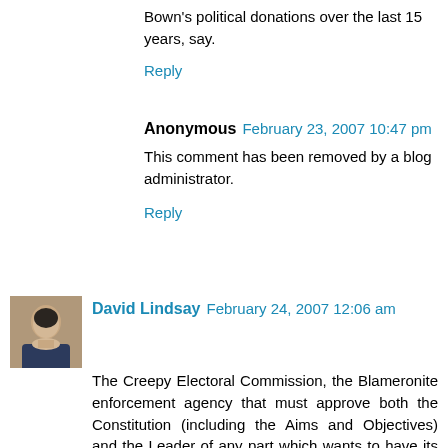Bown's political donations over the last 15 years, say.
Reply
Anonymous  February 23, 2007 10:47 pm
This comment has been removed by a blog administrator.
Reply
David Lindsay  February 24, 2007 12:06 am
The Creepy Electoral Commission, the Blameronite enforcement agency that must approve both the Constitution (including the Aims and Objectives) and the Leader of any part which wants to have its name on ballot papers (did you know that?), is trying to close down the UK Independence Party, undoubtedly in order to save the Cameron Tories at the next General Election.
The signs are increasingly obvious that, unless we secure the election of large numbers of our people (of any party or none) at that Election, then, thanks to the Legislative and